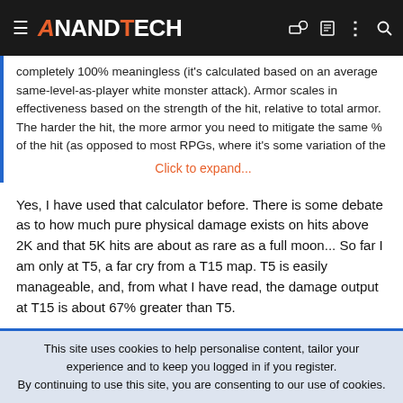AnandTech
completely 100% meaningless (it's calculated based on an average same-level-as-player white monster attack). Armor scales in effectiveness based on the strength of the hit, relative to total armor. The harder the hit, the more armor you need to mitigate the same % of the hit (as opposed to most RPGs, where it's some variation of the
Click to expand...
Yes, I have used that calculator before. There is some debate as to how much pure physical damage exists on hits above 2K and that 5K hits are about as rare as a full moon... So far I am only at T5, a far cry from a T15 map. T5 is easily manageable, and, from what I have read, the damage output at T15 is about 67% greater than T5.
That said, I have never been a fan of avoidance, just pure mitigation.
This site uses cookies to help personalise content, tailor your experience and to keep you logged in if you register.
By continuing to use this site, you are consenting to our use of cookies.